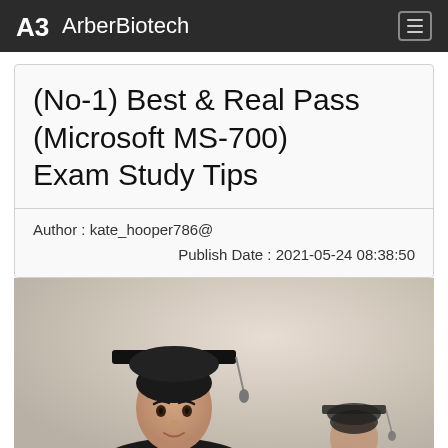ArberBiotech
(No-1) Best & Real Pass (Microsoft MS-700) Exam Study Tips
Author : kate_hooper786@
Publish Date : 2021-05-24 08:38:50
[Figure (photo): A graduate wearing a black mortarboard cap and gown, photographed from below, with a blurred second graduate in the background. Warm neutral background.]